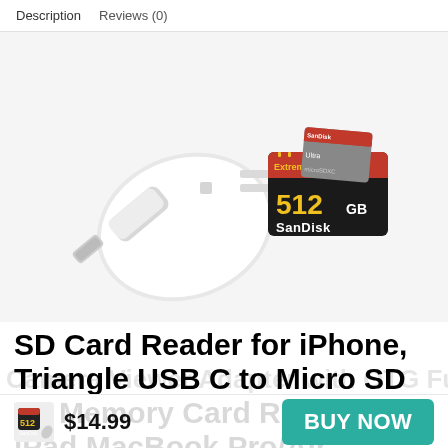Description   Reviews (0)
[Figure (photo): White triangular SD card reader device shown with a SanDisk 512GB Extreme PRO SD card and a smaller microSD card inserted, on a white background.]
SD Card Reader for iPhone, Triangle USB C to Micro SD TF Memory Card Reader for iPad MacBook Pro/Air, Portable Hunting Trail
Camera Viewer Adapter with OTG Function for PC
$14.99
BUY NOW